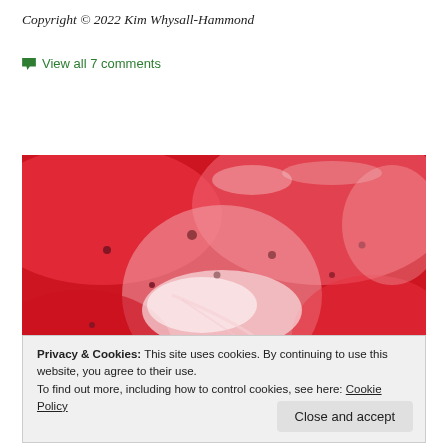Copyright © 2022 Kim Whysall-Hammond
💬 View all 7 comments
[Figure (photo): Close-up macro photograph of a strawberry surface, showing red flesh, white core area, and seeds with fine hairs, vibrant red and pink tones.]
Privacy & Cookies: This site uses cookies. By continuing to use this website, you agree to their use. To find out more, including how to control cookies, see here: Cookie Policy